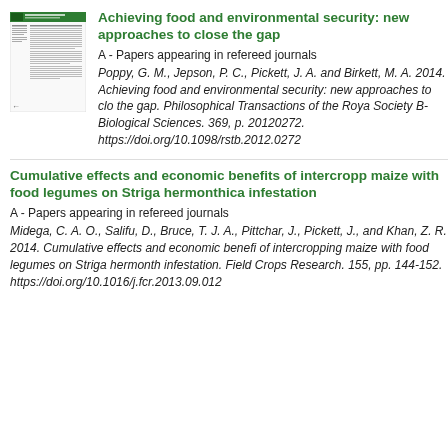[Figure (other): Thumbnail image of a journal article page with green header and text columns]
Achieving food and environmental security: new approaches to close the gap
A - Papers appearing in refereed journals
Poppy, G. M., Jepson, P. C., Pickett, J. A. and Birkett, M. A. 2014. Achieving food and environmental security: new approaches to close the gap. Philosophical Transactions of the Royal Society B-Biological Sciences. 369, p. 20120272. https://doi.org/10.1098/rstb.2012.0272
Cumulative effects and economic benefits of intercropping maize with food legumes on Striga hermonthica infestation
A - Papers appearing in refereed journals
Midega, C. A. O., Salifu, D., Bruce, T. J. A., Pittchar, J., Pickett, J. and Khan, Z. R. 2014. Cumulative effects and economic benefits of intercropping maize with food legumes on Striga hermonthica infestation. Field Crops Research. 155, pp. 144-152. https://doi.org/10.1016/j.fcr.2013.09.012